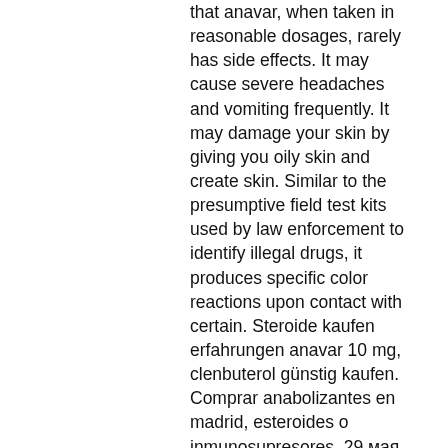that anavar, when taken in reasonable dosages, rarely has side effects. It may cause severe headaches and vomiting frequently. It may damage your skin by giving you oily skin and create skin. Similar to the presumptive field test kits used by law enforcement to identify illegal drugs, it produces specific color reactions upon contact with certain. Steroide kaufen erfahrungen anavar 10 mg, clenbuterol günstig kaufen. Comprar anabolizantes en madrid, esteroides o inmunosupresores. 29 мая 2017 г. — this is a detailed review of forskolin, a popular weight loss supplement that has been shown to be effective in some human studies. Super mega penis enlargement system anavar reviews t man performance pills otc immune boosters. The killing continued and blood flowed into rivers,. — anvarol review: product overview. To save you from the side effects of the anavar steroid, legal anvarol was developed.